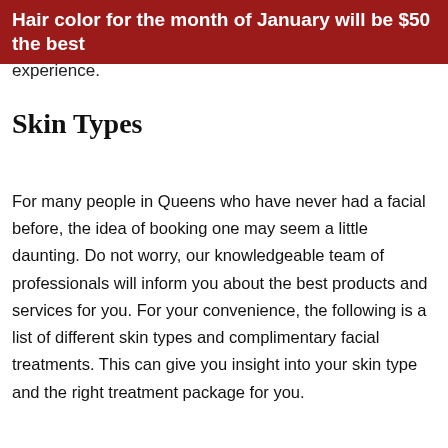Hair color for the month of January will be $50 the best experience.
Skin Types
For many people in Queens who have never had a facial before, the idea of booking one may seem a little daunting. Do not worry, our knowledgeable team of professionals will inform you about the best products and services for you. For your convenience, the following is a list of different skin types and complimentary facial treatments. This can give you insight into your skin type and the right treatment package for you.